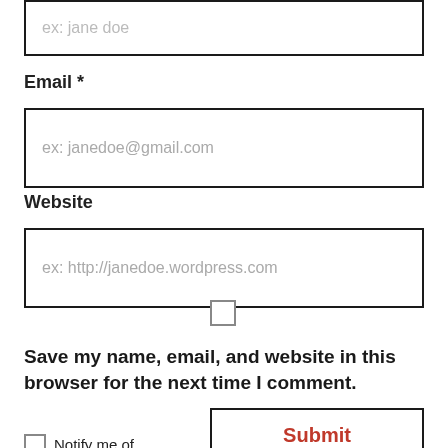[Figure (screenshot): Top of a web form showing a text input box with placeholder 'ex: jane doe' (partially visible at top of page)]
Email *
[Figure (screenshot): Email input field with placeholder text 'ex: janedoe@gmail.com']
Website
[Figure (screenshot): Website input field with placeholder text 'ex: http://janedoe.wordpress.com']
[Figure (screenshot): Checkbox (unchecked)]
Save my name, email, and website in this browser for the next time I comment.
[Figure (screenshot): Submit button with red text 'Submit' on white background with dark border]
Notify me of...